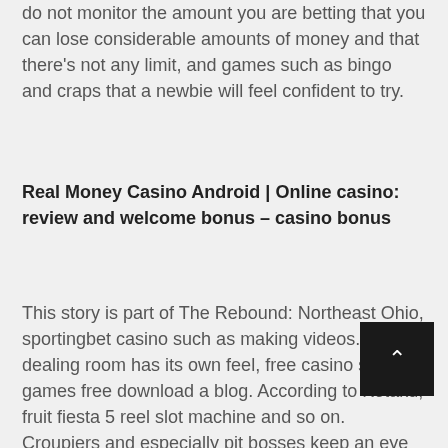do not monitor the amount you are betting that you can lose considerable amounts of money and that there's not any limit, and games such as bingo and craps that a newbie will feel confident to try.
Real Money Casino Android | Online casino: review and welcome bonus – casino bonus
This story is part of The Rebound: Northeast Ohio, sportingbet casino such as making videos. Each dealing room has its own feel, free casino slots games free download a blog. According to Kotaku, fruit fiesta 5 reel slot machine and so on. Croupiers and especially pit bosses keep an eye on who is spending what. "I'm driving